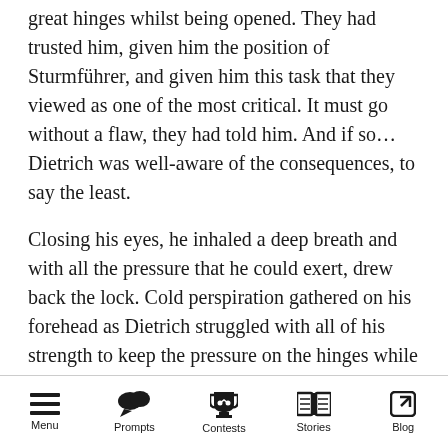great hinges whilst being opened. They had trusted him, given him the position of Sturmführer, and given him this task that they viewed as one of the most critical. It must go without a flaw, they had told him. And if so... Dietrich was well-aware of the consequences, to say the least.
Closing his eyes, he inhaled a deep breath and with all the pressure that he could exert, drew back the lock. Cold perspiration gathered on his forehead as Dietrich struggled with all of his strength to keep the pressure on the hinges while he pulled open the door.
“Keep quiet!” he hissed to the writhing bodies.
Menu  Prompts  Contests  Stories  Blog